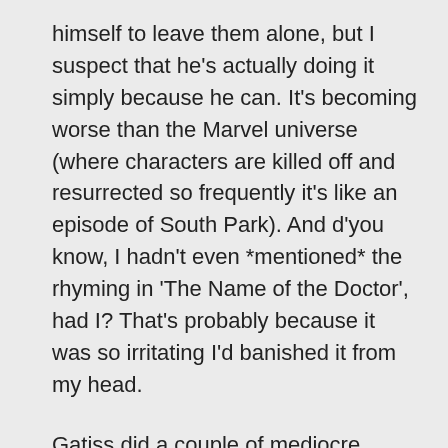himself to leave them alone, but I suspect that he's actually doing it simply because he can. It's becoming worse than the Marvel universe (where characters are killed off and resurrected so frequently it's like an episode of South Park). And d'you know, I hadn't even *mentioned* the rhyming in 'The Name of the Doctor', had I? That's probably because it was so irritating I'd banished it from my head.
Gatiss did a couple of mediocre episodes, one shocking one and then a couple of reasonable ones this series – 'Cold War', which wasn't bad, suffering as it did because it simply wasn't an Ice Warrior story, and then 'The Crimson Horror', which...